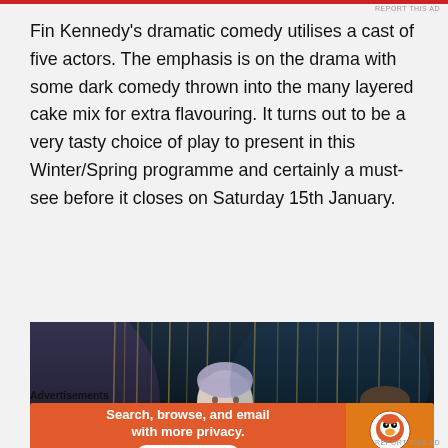Fin Kennedy's dramatic comedy utilises a cast of five actors. The emphasis is on the drama with some dark comedy thrown into the many layered cake mix for extra flavouring. It turns out to be a very tasty choice of play to present in this Winter/Spring programme and certainly a must-see before it closes on Saturday 15th January.
[Figure (photo): Two actors on stage: a person with short blonde/grey hair wearing a floral jacket over a blue top (left), and a person in a suit (right), against a dark backdrop with hanging metallic streaks/curtain.]
Advertisements
[Figure (other): DuckDuckGo advertisement banner reading 'Search, browse, and email with more privacy. All in One Free App' with DuckDuckGo logo on orange background.]